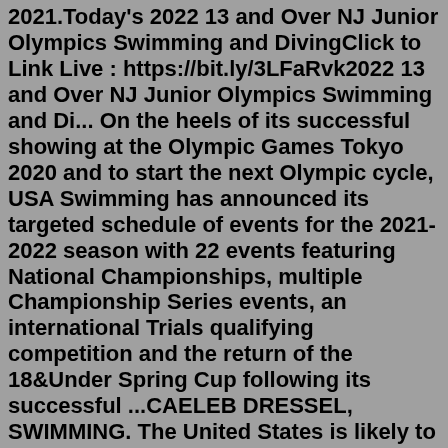2021.Today's 2022 13 and Over NJ Junior Olympics Swimming and DivingClick to Link Live : https://bit.ly/3LFaRvk2022 13 and Over NJ Junior Olympics Swimming and Di... On the heels of its successful showing at the Olympic Games Tokyo 2020 and to start the next Olympic cycle, USA Swimming has announced its targeted schedule of events for the 2021-2022 season with 22 events featuring National Championships, multiple Championship Series events, an international Trials qualifying competition and the return of the 18&Under Spring Cup following its successful ...CAELEB DRESSEL, SWIMMING. The United States is likely to retain both if its swimming superstars for the next edition of the Summer Olympics in Paris, as Caeleb Dressel has gone on record saying he wants to race in 2024. Dressel went five-for-six in gold medals at Tokyo 2020, claiming the top step on the podium in the 4x100m freestyle relay, the ...09 December 2021, 08:48am. The 2021 USA Swimming East Speedo Winter Junior Championships continued on